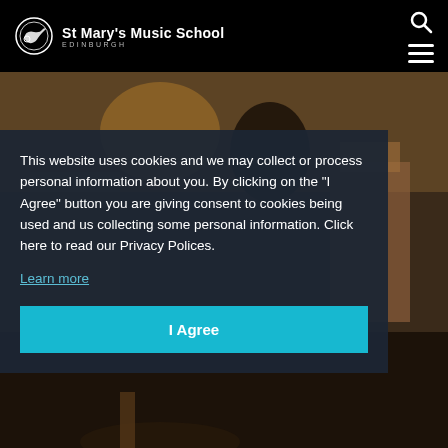St Mary's Music School EDINBURGH
[Figure (photo): Background photo of a student playing an instrument in a wood-panelled room, seen from behind/side angle]
This website uses cookies and we may collect or process personal information about you. By clicking on the “I Agree” button you are giving consent to cookies being used and us collecting some personal information. Click here to read our Privacy Polices.
Learn more
I Agree